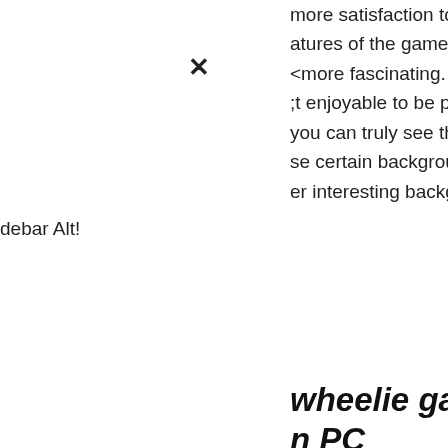more satisfaction to another level. atures of the game, the graphics and more fascinating. Wheelie games are st enjoyable to be played on PC you can truly see the graphics especially se certain background in the game such er interesting backgrounds.
wheelie games to n PC
e games on PC is great especially for k 9 to 5 job. Their work for 8 hours with ponsibilities. Thus, those who spend me in front of computer can only rely ter to seek for some entertainment spend your most of the day in front of g games during your rest can be good hen you don't have to go anywhere to